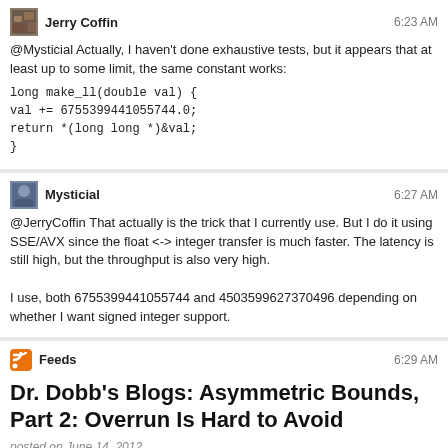Jerry Coffin — 6:23 AM
@Mysticial Actually, I haven't done exhaustive tests, but it appears that at least up to some limit, the same constant works:
long make_ll(double val) {
val += 6755399441055744.0;
return *(long long *)&val;
}
Mysticial — 6:27 AM
@JerryCoffin That actually is the trick that I currently use. But I do it using SSE/AVX since the float <-> integer transfer is much faster. The latency is still high, but the throughput is also very high.
I use, both 6755399441055744 and 4503599627370496 depending on whether I want signed integer support.
Feeds — 6:29 AM
Dr. Dobb's Blogs: Asymmetric Bounds, Part 2: Overrun Is Hard to Avoid
posted on June 14, 2012
Some programming languages allow programmers to say explicitly what range an integer variable is allowed to take on.
Jerry Coffin — 6:29 AM
@Mysticial Okay -- I have my doubts about getting a whole lot better than that.
Mysticial — 6:32 AM